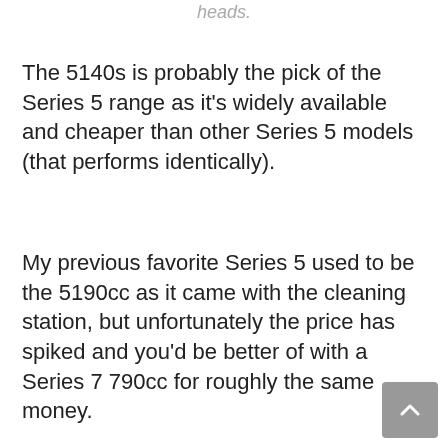heads.
The 5140s is probably the pick of the Series 5 range as it’s widely available and cheaper than other Series 5 models (that performs identically).
My previous favorite Series 5 used to be the 5190cc as it came with the cleaning station, but unfortunately the price has spiked and you’d be better of with a Series 7 790cc for roughly the same money.